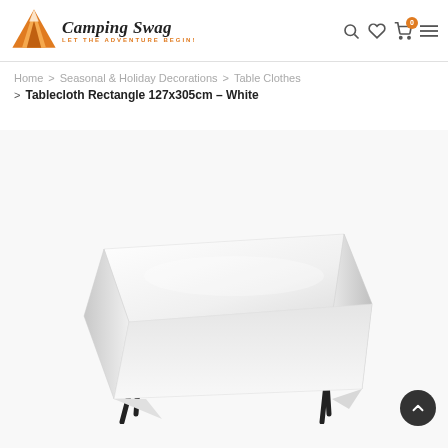Camping Swag — LET THE ADVENTURE BEGIN!
Home > Seasonal & Holiday Decorations > Table Clothes
Tablecloth Rectangle 127x305cm – White
[Figure (photo): White rectangular tablecloth draped over a folding table with black metal legs, shown on a white background.]